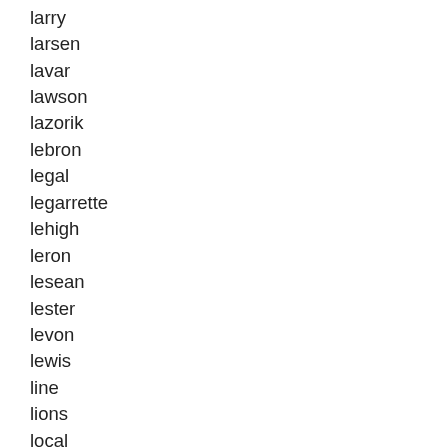larry
larsen
lavar
lawson
lazorik
lebron
legal
legarrette
lehigh
leron
lesean
lester
levon
lewis
line
lions
local
loin
london
longley